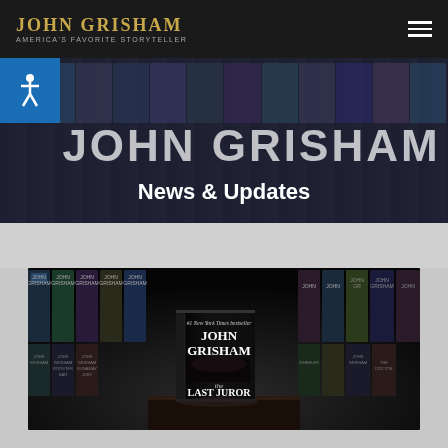JOHN GRISHAM — America's Favorite Storyteller
JOHN GRISHAM
News & Updates
[Figure (photo): John Grisham book 'The Last Juror' displayed standing upright on a dark surface against a dark background filled with shelves of Grisham book covers]